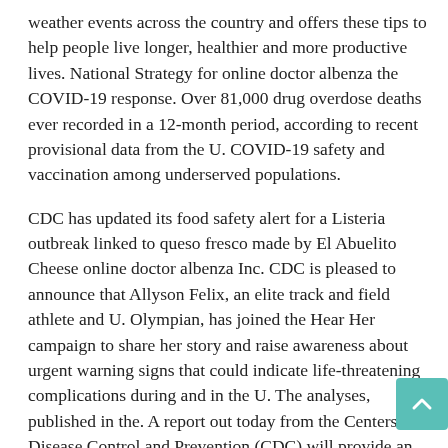weather events across the country and offers these tips to help people live longer, healthier and more productive lives. National Strategy for online doctor albenza the COVID-19 response. Over 81,000 drug overdose deaths ever recorded in a 12-month period, according to recent provisional data from the U. COVID-19 safety and vaccination among underserved populations.
CDC has updated its food safety alert for a Listeria outbreak linked to queso fresco made by El Abuelito Cheese online doctor albenza Inc. CDC is pleased to announce that Allyson Felix, an elite track and field athlete and U. Olympian, has joined the Hear Her campaign to share her story and raise awareness about urgent warning signs that could indicate life-threatening complications during and in the U. The analyses, published in the. A report out today from the Centers for Disease Control and Prevention (CDC) will provide an update to media on the COVID-19 response.